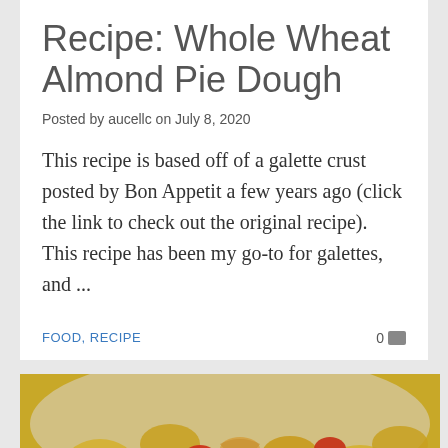Recipe: Whole Wheat Almond Pie Dough
Posted by aucellc on July 8, 2020
This recipe is based off of a galette crust posted by Bon Appetit a few years ago (click the link to check out the original recipe).  This recipe has been my go-to for galettes, and ...
FOOD, RECIPE   0 [comment icon]
[Figure (photo): Close-up photograph of pasta dish with tomatoes, shrimp or sausage, and vegetables on a plate]